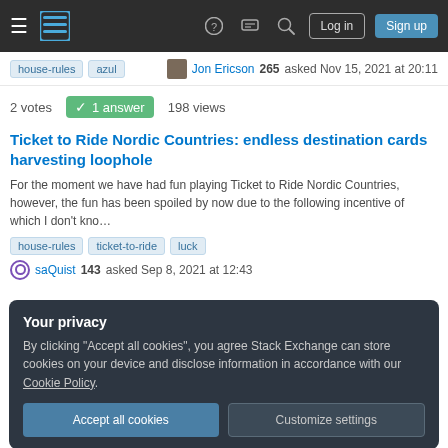Navigation bar with logo, help, chat, search, Log in, Sign up
house-rules azul Jon Ericson 265 asked Nov 15, 2021 at 20:11
2 votes 1 answer 198 views
Ticket to Ride Nordic Countries: endless destination cards harvesting loophole
For the moment we have had fun playing Ticket to Ride Nordic Countries, however, the fun has been spoiled by now due to the following incentive of which I don't kno...
house-rules ticket-to-ride luck
saQuist 143 asked Sep 8, 2021 at 12:43
Your privacy
By clicking "Accept all cookies", you agree Stack Exchange can store cookies on your device and disclose information in accordance with our Cookie Policy.
Accept all cookies Customize settings